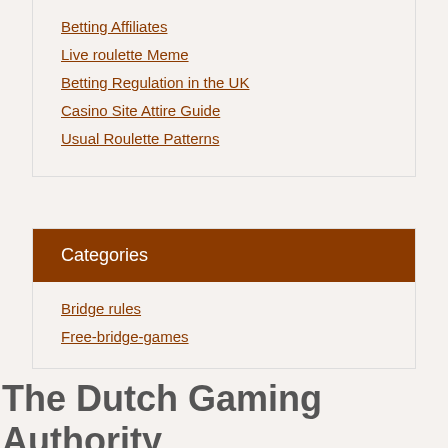Betting Affiliates
Live roulette Meme
Betting Regulation in the UK
Casino Site Attire Guide
Usual Roulette Patterns
Categories
Bridge rules
Free-bridge-games
The Dutch Gaming Authority
2022-06-03   No Comments